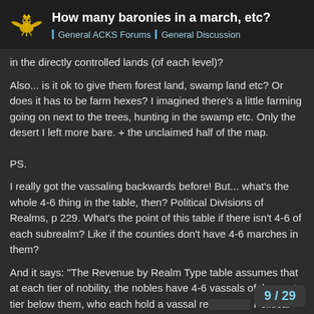How many baronies in a march, etc? | General ACKS Forums | General Discussion
in the directly controlled lands (of each level)?
Also... is it ok to give them forest land, swamp land etc? Or does it has to be farm hexes? I imagined there's a little farming going on next to the trees, hunting in the swamp etc. Only the desert I left more bare. + the unclaimed half of the map.
PS.
I really got the vassaling backwards before! But... what's the whole 4-6 thing in the table, then? Political Divisions of Realms, p 229. What's the point of this table if there isn't 4-6 of each subrealm? Like if the counties don't have 4-6 marches in them?
And it says: "The Revenue by Realm Type table assumes that at each tier of nobility, the nobles have 4-6 vassals of the next tier below them, who each hold a vassal re… Political Division of Realms" table.
9 / 29